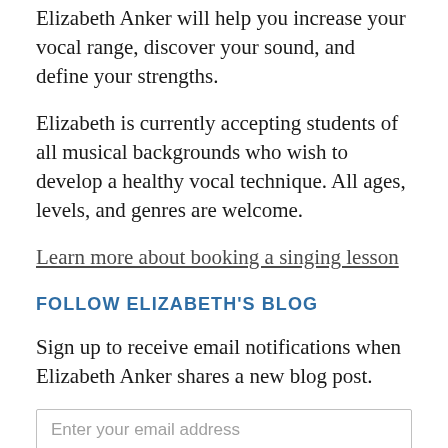Elizabeth Anker will help you increase your vocal range, discover your sound, and define your strengths.
Elizabeth is currently accepting students of all musical backgrounds who wish to develop a healthy vocal technique. All ages, levels, and genres are welcome.
Learn more about booking a singing lesson
FOLLOW ELIZABETH'S BLOG
Sign up to receive email notifications when Elizabeth Anker shares a new blog post.
Enter your email address